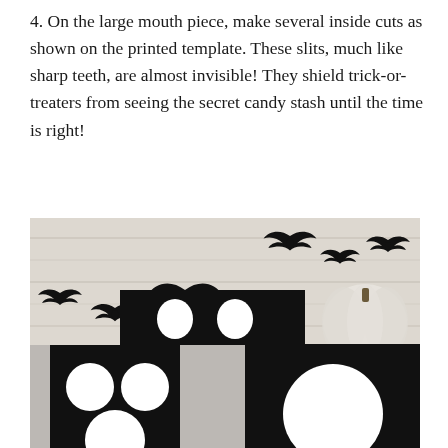4. On the large mouth piece, make several inside cuts as shown on the printed template. These slits, much like sharp teeth, are almost invisible! They shield trick-or-treaters from seeing the secret candy stash until the time is right!
[Figure (photo): A Halloween craft photo showing black bat silhouettes against a rustic white painted wood background, with a black paper craft piece showing eye cutouts in the center and a small white pumpkin to the right. The bottom portion shows close-up views of the black craft piece with circular eye holes.]